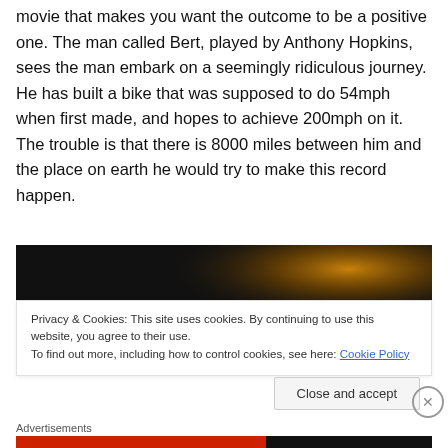movie that makes you want the outcome to be a positive one. The man called Bert, played by Anthony Hopkins, sees the man embark on a seemingly ridiculous journey. He has built a bike that was supposed to do 54mph when first made, and hopes to achieve 200mph on it. The trouble is that there is 8000 miles between him and the place on earth he would try to make this record happen.
[Figure (photo): Dark image with orange/amber glow in the upper right area, appearing to be a cinematic or atmospheric photograph]
Privacy & Cookies: This site uses cookies. By continuing to use this website, you agree to their use.
To find out more, including how to control cookies, see here: Cookie Policy
Close and accept
Advertisements